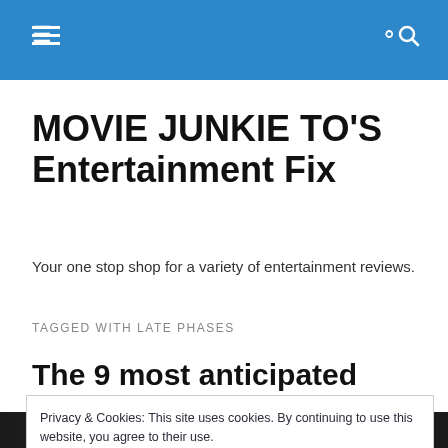MOVIE JUNKIE TO'S Entertainment Fix — navigation bar
MOVIE JUNKIE TO'S Entertainment Fix
Your one stop shop for a variety of entertainment reviews.
TAGGED WITH LATE PHASES
The 9 most anticipated films at
Privacy & Cookies: This site uses cookies. By continuing to use this website, you agree to their use.
To find out more, including how to control cookies, see here: Cookie Policy
[Figure (photo): Dark film scene photo strip at the bottom of the page]